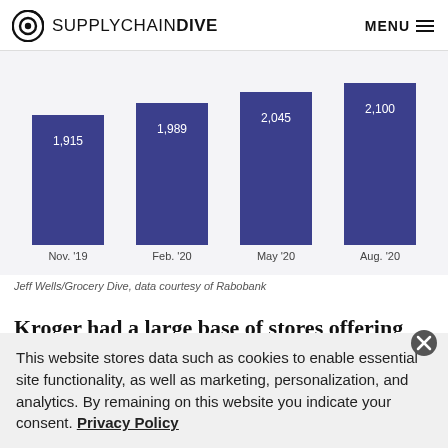SUPPLY CHAIN DIVE  MENU
[Figure (bar-chart): ]
Jeff Wells/Grocery Dive, data courtesy of Rabobank
Kroger had a large base of stores offering pickup at the
This website stores data such as cookies to enable essential site functionality, as well as marketing, personalization, and analytics. By remaining on this website you indicate your consent. Privacy Policy